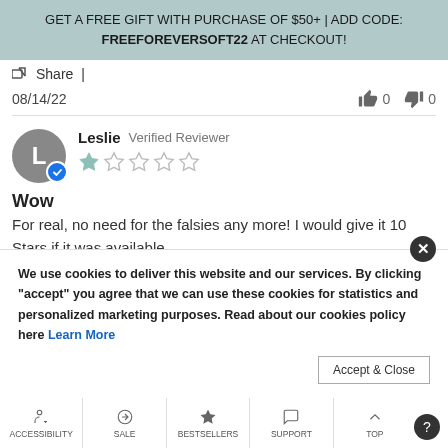GET A FREE GIFT WITH PURCHASE OF $50+ | ADD CODE: FREEFOREVERSOFT22 AT CHECKOUT!
Share |
08/14/22   👍 0   👎 0
Leslie  Verified Reviewer  ★☆☆☆☆
Wow
For real, no need for the falsies any more! I would give it 10 Stars if it was available.
We use cookies to deliver this website and our services. By clicking "accept" you agree that we can use these cookies for statistics and personalized marketing purposes. Read about our cookies policy here Learn More
ACCESSIBILITY | SALE | BESTSELLERS | SUPPORT | TOP